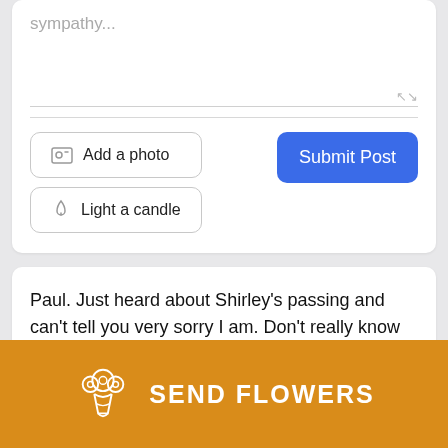sympathy...
Add a photo
Light a candle
Submit Post
Paul. Just heard about Shirley's passing and can't tell you very sorry I am. Don't really know how to tell you how very much she helped me and what
SEND FLOWERS